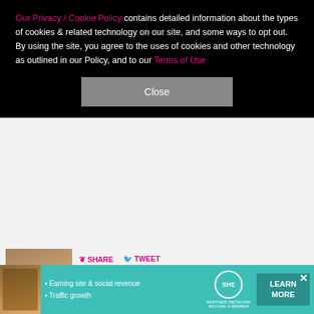Our Privacy / Cookie Policy contains detailed information about the types of cookies & related technology on our site, and some ways to opt out. By using the site, you agree to the uses of cookies and other technology as outlined in our Policy, and to our Terms of Use
Close
SHARE   TWEET
Heidi Klum, 49, shows off her long, tanned legs in a hot pink Dolce & Gabbana mini, plus more of her sexiest and wildest recent fashion moments
SHARE   TWEET
Diane Keaton makes extremely rare appearance with adult children she adopted in her 50s, plus more stars
[Figure (screenshot): Advertisement banner for SHE Partner Network featuring a person and text about Earning site & social revenue, Traffic growth, with LEARN MORE button]